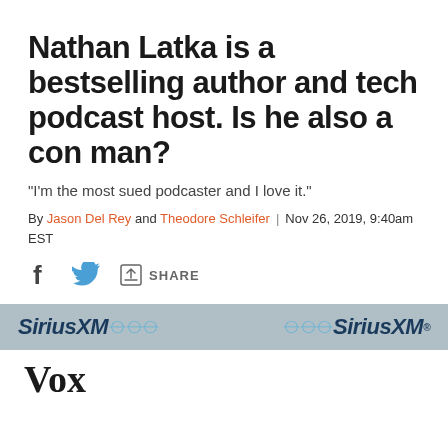Nathan Latka is a bestselling author and tech podcast host. Is he also a con man?
“I’m the most sued podcaster and I love it.”
By Jason Del Rey and Theodore Schleifer | Nov 26, 2019, 9:40am EST
[Figure (other): Social share icons: Facebook, Twitter, and a share/export icon with label SHARE]
[Figure (other): SiriusXM advertisement banner — grey background with SiriusXM logo appearing twice]
[Figure (logo): Vox media logo in black serif text]